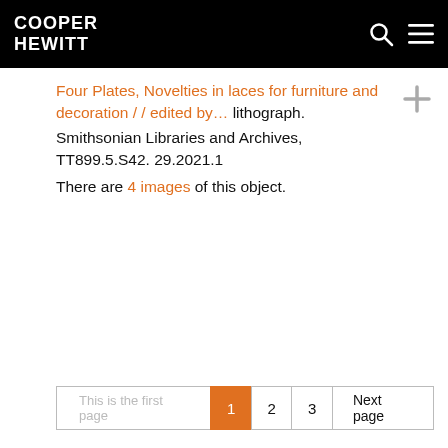COOPER HEWITT
Four Plates, Novelties in laces for furniture and decoration / / edited by… lithograph. Smithsonian Libraries and Archives, TT899.5.S42. 29.2021.1
There are 4 images of this object.
This is the first page  1  2  3  Next page